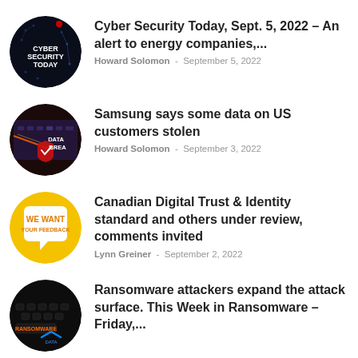Cyber Security Today, Sept. 5, 2022 – An alert to energy companies,... | Howard Solomon - September 5, 2022
Samsung says some data on US customers stolen | Howard Solomon - September 3, 2022
Canadian Digital Trust & Identity standard and others under review, comments invited | Lynn Greiner - September 2, 2022
Ransomware attackers expand the attack surface. This Week in Ransomware – Friday,...